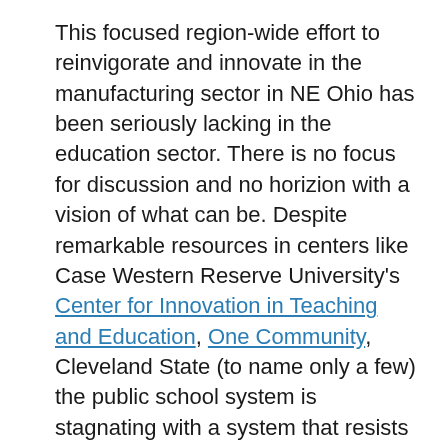This focused region-wide effort to reinvigorate and innovate in the manufacturing sector in NE Ohio has been seriously lacking in the education sector. There is no focus for discussion and no horizion with a vision of what can be. Despite remarkable resources in centers like Case Western Reserve University's Center for Innovation in Teaching and Education, One Community, Cleveland State (to name only a few) the public school system is stagnating with a system that resists any invitation for innovation. Few in the public education system in the region even know these resources exist much less how to make use of their innovations. The public school system appears to be experiencing a random approach to innovation, and seems more concerned with addressing job retention within the system. There are exceptions. The success of the MC2STEM school initiatives show promise, but these schools are in the minority. Rather than stimulating innovation, the Governor's draft budget hinder it because it includes language that will cut support to some of the most innovative charter schools in the State.